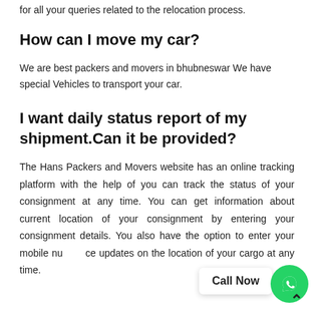for all your queries related to the relocation process.
How can I move my car?
We are best packers and movers in bhubneswar We have special Vehicles to transport your car.
I want daily status report of my shipment.Can it be provided?
The Hans Packers and Movers website has an online tracking platform with the help of you can track the status of your consignment at any time. You can get information about current location of your consignment by entering your consignment details. You also have the option to enter your mobile nu  ce updates on the location of your cargo at any time.